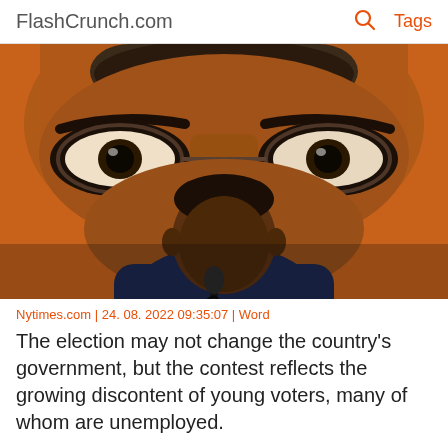FlashCrunch.com | Tags
[Figure (photo): A man speaking at a microphone in front of a large close-up portrait banner of a man's face, orange background]
Nytimes.com | 24. 08. 2022 09:35:07 | Word
The election may not change the country's government, but the contest reflects the growing discontent of young voters, many of whom are unemployed.